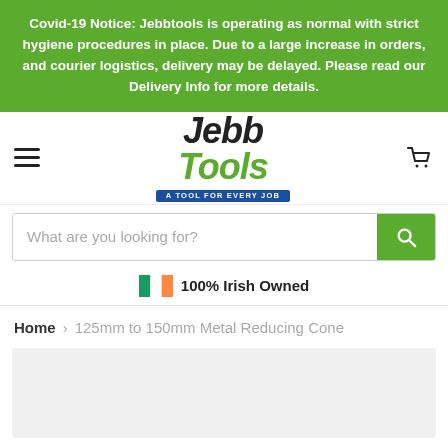Covid-19 Notice: Jebbtools is operating as normal with strict hygiene procedures in place. Due to a large increase in orders, and courier logistics, delivery may be delayed. Please read our Delivery Info for more details.
[Figure (logo): JebbTools logo with tagline 'A TOOL FOR EVERY JOB']
What are you looking for?
100% Irish Owned
Home > 125mm to 150mm Metal Reducing Cone
[Figure (photo): Product image area (light grey background, product not visible)]